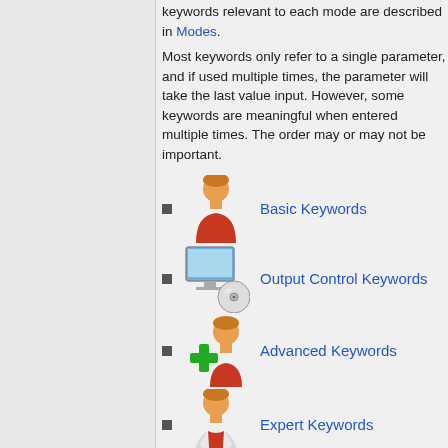Keywords relevant to each mode are described in Modes.
Most keywords only refer to a single parameter, and if used multiple times, the parameter will take the last value input. However, some keywords are meaningful when entered multiple times. The order may or may not be important.
Basic Keywords
Output Control Keywords
Advanced Keywords
Expert Keywords
Developer Keywords